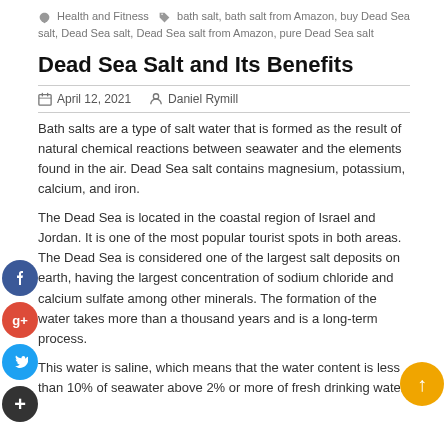Health and Fitness   bath salt, bath salt from Amazon, buy Dead Sea salt, Dead Sea salt, Dead Sea salt from Amazon, pure Dead Sea salt
Dead Sea Salt and Its Benefits
April 12, 2021   Daniel Rymill
Bath salts are a type of salt water that is formed as the result of natural chemical reactions between seawater and the elements found in the air. Dead Sea salt contains magnesium, potassium, calcium, and iron.
The Dead Sea is located in the coastal region of Israel and Jordan. It is one of the most popular tourist spots in both areas. The Dead Sea is considered one of the largest salt deposits on earth, having the largest concentration of sodium chloride and calcium sulfate among other minerals. The formation of the water takes more than a thousand years and is a long-term process.
This water is saline, which means that the water content is less than 10% of seawater above 2% or more of fresh drinking water.